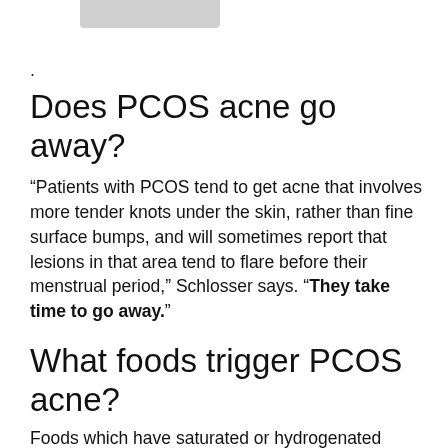.
Does PCOS acne go away?
“Patients with PCOS tend to get acne that involves more tender knots under the skin, rather than fine surface bumps, and will sometimes report that lesions in that area tend to flare before their menstrual period,” Schlosser says. “They take time to go away.”
What foods trigger PCOS acne?
Foods which have saturated or hydrogenated